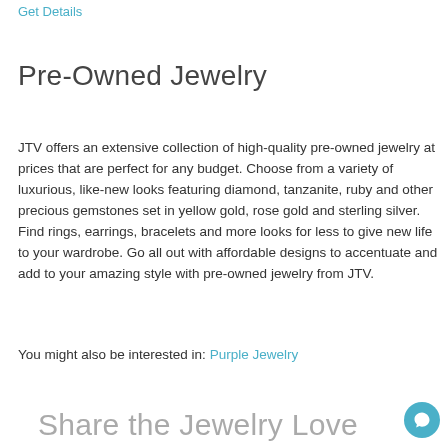Get Details
Pre-Owned Jewelry
JTV offers an extensive collection of high-quality pre-owned jewelry at prices that are perfect for any budget. Choose from a variety of luxurious, like-new looks featuring diamond, tanzanite, ruby and other precious gemstones set in yellow gold, rose gold and sterling silver. Find rings, earrings, bracelets and more looks for less to give new life to your wardrobe. Go all out with affordable designs to accentuate and add to your amazing style with pre-owned jewelry from JTV.
You might also be interested in: Purple Jewelry
Share the Jewelry Love